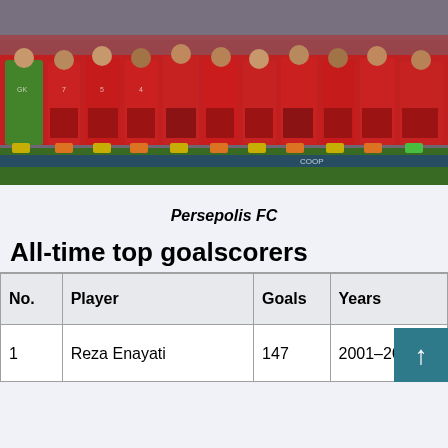[Figure (photo): Team photo of Persepolis FC players in red jerseys lined up on a football pitch, with one goalkeeper in green.]
Persepolis FC
All-time top goalscorers
| No. | Player | Goals | Years |
| --- | --- | --- | --- |
| 1 | Reza Enayati | 147 | 2001–2017 |